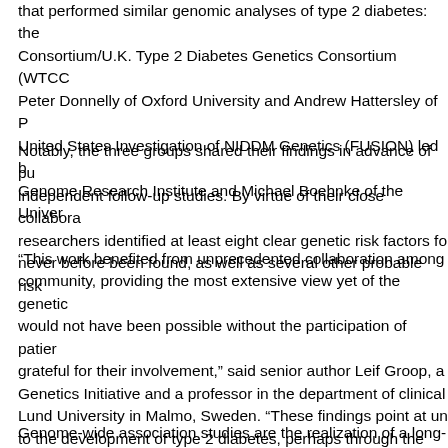that performed similar genomic analyses of type 2 diabetes: the Consortium/U.K. Type 2 Diabetes Genetics Consortium (WTCC Peter Donnelly of Oxford University and Andrew Hattersley of P United States Investigation of NIDDM Genetics (FUSION) led b Genome Research Institute and Michael Boehnke of the Univer
Notably, the three groups shared their findings in advance of pu independent follow-up studies. By virtue of their close collabora researchers identified at least eight clear genetic risk factors fo never before been found, as well as several other probable risk
“This work benefited from unprecedented collaboration among community, providing the most extensive view yet of the genetic would not have been possible without the participation of patier grateful for their involvement,” said senior author Leif Groop, a Genetics Initiative and a professor in the department of clinical Lund University in Malmo, Sweden. “These findings point at un to the development of type 2 diabetes, perhaps through the pro producing cells to cope with the modern lifestyle and environme
Genome-wide association studies are the realization of a long-t